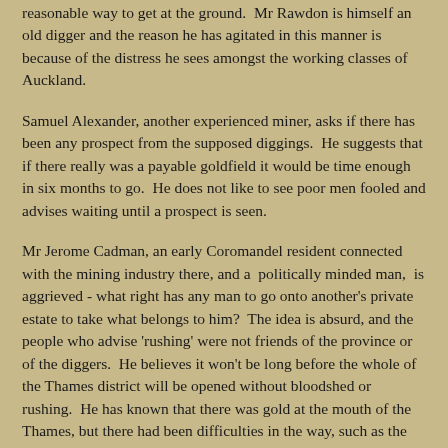reasonable way to get at the ground.  Mr Rawdon is himself an old digger and the reason he has agitated in this manner is because of the distress he sees amongst the working classes of Auckland.
Samuel Alexander, another experienced miner, asks if there has been any prospect from the supposed diggings.  He suggests that if there really was a payable goldfield it would be time enough in six months to go.  He does not like to see poor men fooled and advises waiting until a prospect is seen.
Mr Jerome Cadman, an early Coromandel resident connected with the mining industry there, and a  politically minded man,  is aggrieved - what right has any man to go onto another's private estate to take what belongs to him?  The idea is absurd, and the people who advise 'rushing' were not friends of the province or of the diggers.  He believes it won't be long before the whole of the Thames district will be opened without bloodshed or rushing.  He has known that there was gold at the mouth of the Thames, but there had been difficulties in the way, such as the late stupid,